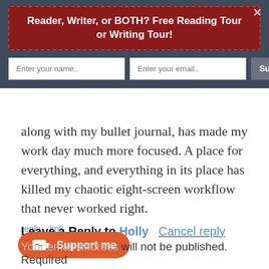[Figure (infographic): Website popup overlay with dark blue-gray background, red banner with dashed border reading 'Reader, Writer, or BOTH? Free Reading Tour or Writing Tour!', email subscription form with name input, email input, and Subscribe Now button, and an X close button]
along with my bullet journal, has made my work day much more focused. A place for everything, and everything in its place has killed my chaotic eight-screen workflow that never worked right.
reply   link
Leave a Reply to Holly   Cancel reply
[Figure (illustration): Ko-fi support button with orange pill shape, coffee cup icon, and text 'Support me']
Your email address will not be published. Required